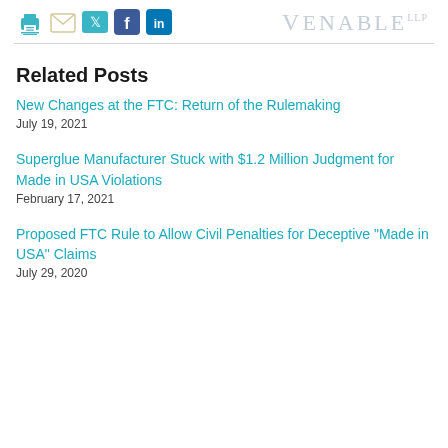Venable LLP
Related Posts
New Changes at the FTC: Return of the Rulemaking
July 19, 2021
Superglue Manufacturer Stuck with $1.2 Million Judgment for Made in USA Violations
February 17, 2021
Proposed FTC Rule to Allow Civil Penalties for Deceptive "Made in USA" Claims
July 29, 2020